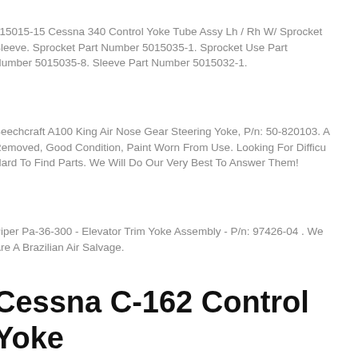915015-15 Cessna 340 Control Yoke Tube Assy Lh / Rh W/ Sprocket Sleeve. Sprocket Part Number 5015035-1. Sprocket Use Part Number 5015035-8. Sleeve Part Number 5015032-1.
Beechcraft A100 King Air Nose Gear Steering Yoke, P/n: 50-820103. Removed, Good Condition, Paint Worn From Use. Looking For Difficult Hard To Find Parts. We Will Do Our Very Best To Answer Them!
Piper Pa-36-300 - Elevator Trim Yoke Assembly - P/n: 97426-04 . We Are A Brazilian Air Salvage.
Cessna C-162 Control Yoke Assy Co - Pilot Pn 0916510422